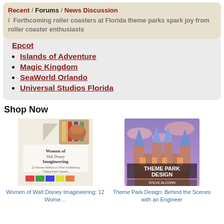Recent / Forums / News Discussion / Forthcoming roller coasters at Florida theme parks spark joy from roller coaster enthusiasts
Epcot (partial, cut off)
Islands of Adventure
Magic Kingdom
SeaWorld Orlando
Universal Studios Florida
Shop Now
[Figure (photo): Book cover: Women of Walt Disney Imagineering]
Women of Walt Disney Imagineering: 12 Wome...
[Figure (photo): Book cover: Theme Park Design by Steve Alcorn]
Theme Park Design: Behind the Scenes with an Engineer